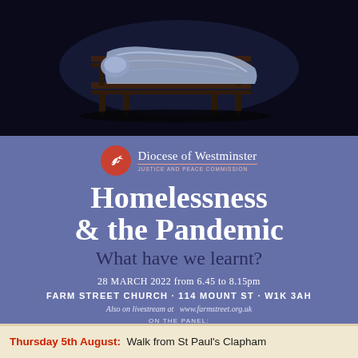[Figure (photo): A person sleeping on a wooden bench covered with a white/blue sheet, illuminated against a dark background, symbolizing homelessness.]
[Figure (logo): Diocese of Westminster Justice and Peace Commission logo with dove in red circle]
Homelessness & the Pandemic
What have we learnt?
28 MARCH 2022 from 6.45 to 8.15pm
FARM STREET CHURCH · 114 MOUNT ST · W1K 3AH
Also on livestream at  www.farmstreet.org.uk
ON THE PANEL:
Thursday 5th August:  Walk from St Paul's Clapham